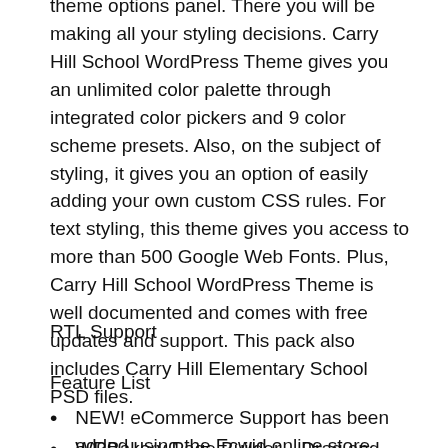theme options panel. There you will be making all your styling decisions. Carry Hill School WordPress Theme gives you an unlimited color palette through integrated color pickers and 9 color scheme presets. Also, on the subject of styling, it gives you an option of easily adding your own custom CSS rules. For text styling, this theme gives you access to more than 500 Google Web Fonts. Plus, Carry Hill School WordPress Theme is well documented and comes with free updates and support. This pack also includes Carry Hill Elementary School PSD files.
RTL Support
Feature List
NEW! eCommerce Support has been added using the Ecwid online store
WRBakery Page Builder – Drag and Drop